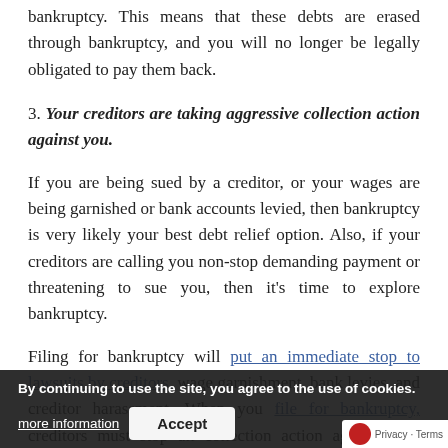bankruptcy. This means that these debts are erased through bankruptcy, and you will no longer be legally obligated to pay them back.
3. Your creditors are taking aggressive collection action against you.
If you are being sued by a creditor, or your wages are being garnished or bank accounts levied, then bankruptcy is very likely your best debt relief option. Also, if your creditors are calling you non-stop demanding payment or threatening to sue you, then it's time to explore bankruptcy.
Filing for bankruptcy will put an immediate stop to lawsuits by creditors, wage garnishment, bank levies, and creditor harassment. When you file for bankruptcy, creditors must stop all collection action against you. Contact a bankruptcy attorney today. If you live in or near Savannah,
By continuing to use the site, you agree to the use of cookies.
more information
Accept
Privacy · Terms